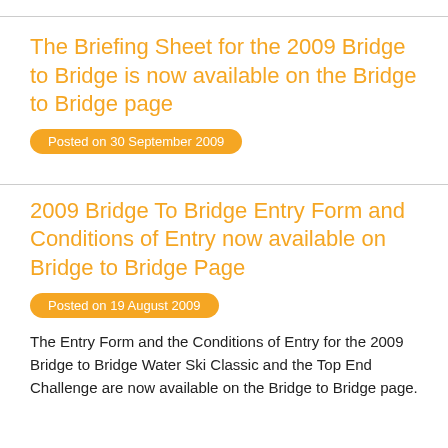The Briefing Sheet for the 2009 Bridge to Bridge is now available on the Bridge to Bridge page
Posted on 30 September 2009
2009 Bridge To Bridge Entry Form and Conditions of Entry now available on Bridge to Bridge Page
Posted on 19 August 2009
The Entry Form and the Conditions of Entry for the 2009 Bridge to Bridge Water Ski Classic and the Top End Challenge are now available on the Bridge to Bridge page.